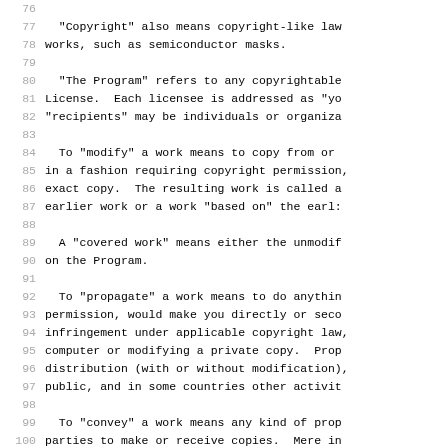Lines 76-106 of a legal/license document (GPL-style). Line-numbered source text showing definitions of Copyright, The Program, modify, covered work, propagate, convey, and interactive user interface.